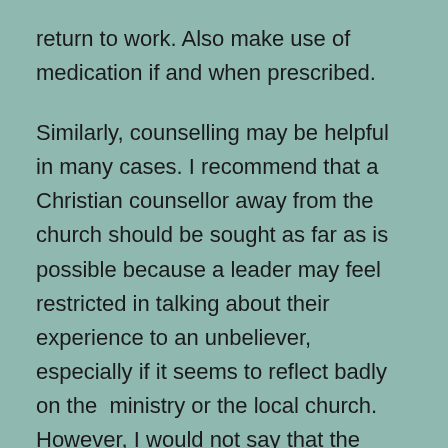return to work.  Also make use of medication if and when prescribed.
Similarly, counselling may be helpful in many cases. I recommend that a Christian counsellor away from the church should be sought as far as is possible because a leader may feel restricted in talking about their experience to an unbeliever, especially if it seems to reflect badly on the  ministry or the local church. However, I would not say that the counsellor should necessarily be a “Biblical Counsellor” in the narrow sense of the word. This is because the term “Biblical Counselling” has been